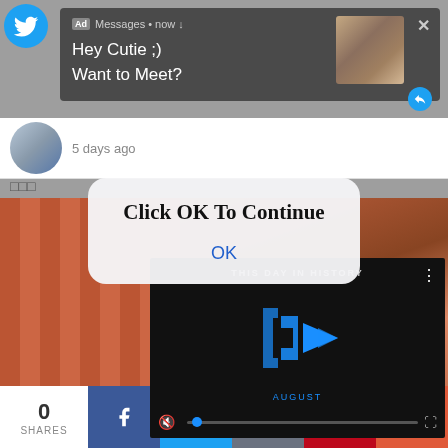[Figure (screenshot): Screenshot of a mobile device showing a Twitter/social media page with multiple overlapping UI elements: an ad notification popup saying 'Hey Cutie ;) Want to Meet?', a 'Click OK To Continue' modal dialog, a video player showing 'This Day In History', and a bottom social share bar with 0 shares.]
Ad Messages • now ↓
Hey Cutie ;)
Want to Meet?
5 days ago
□□□
Click OK To Continue
OK
THIS DAY IN HISTORY
AUGUST
0
SHARES